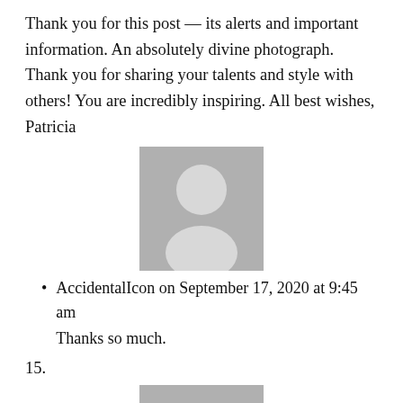Thank you for this post — its alerts and important information. An absolutely divine photograph. Thank you for sharing your talents and style with others! You are incredibly inspiring. All best wishes, Patricia
[Figure (illustration): Generic grey placeholder avatar with person silhouette]
AccidentalIcon on September 17, 2020 at 9:45 am
Thanks so much.
15.
[Figure (illustration): Generic grey placeholder avatar with person silhouette]
Rosemarie on September 16, 2020 at 4:44 pm
Oh my – what an ordeal. Thankfully your